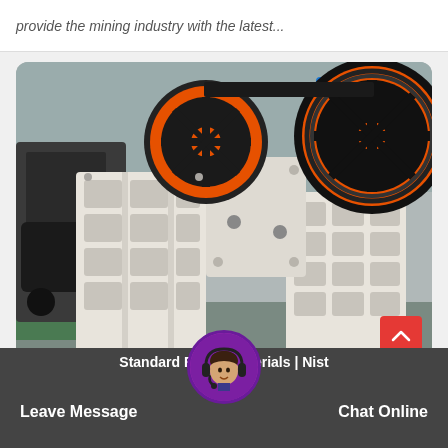provide the mining industry with the latest...
[Figure (photo): Large industrial jaw crusher machine with orange and black flywheels, white/cream colored body with ribbed frame structure, mounted on metal supports in a factory/warehouse setting. Chinese text visible on signage in background.]
Standard Reference Materials | Nist
Leave Message
Chat Online